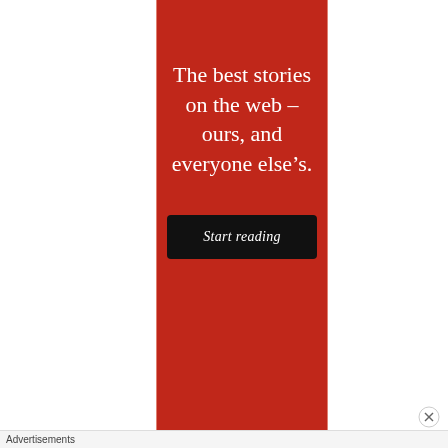[Figure (infographic): Red vertical banner advertisement with white serif text reading 'The best stories on the web — ours, and everyone else's.' and a black 'Start reading' button below.]
Advertisements